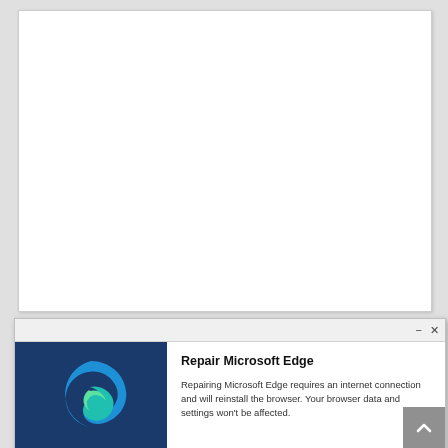[Figure (screenshot): White blank document area in the upper portion of the page, representing a document or webpage content area.]
[Figure (screenshot): A Windows dialog box titled 'Repair Microsoft Edge'. It has a title bar with minimize and close buttons, a left panel with dark blue background showing the Microsoft Edge logo (a stylized blue and green wave/swirl icon), and a right panel with the title 'Repair Microsoft Edge' and descriptive text: 'Repairing Microsoft Edge requires an internet connection and will reinstall the browser. Your browser data and settings won't be affected.' A grey scroll-to-top button is visible at the bottom right corner.]